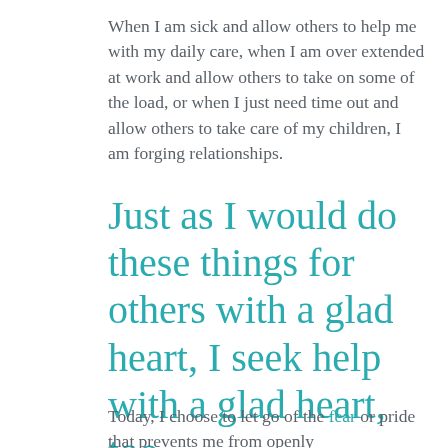When I am sick and allow others to help me with my daily care, when I am over extended at work and allow others to take on some of the load, or when I just need time out and allow others to take care of my children, I am forging relationships.
Just as I would do these things for others with a glad heart, I seek help with a glad heart, too.
Today, I choose to let go of the fear or pride that prevents me from openly